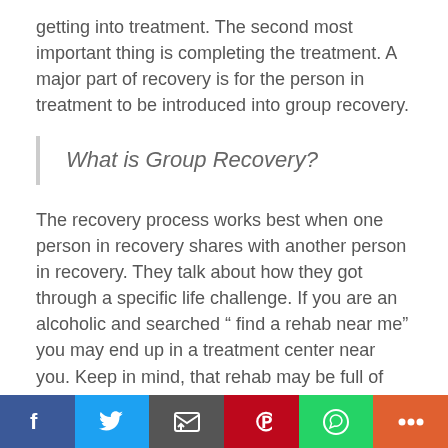getting into treatment. The second most important thing is completing the treatment. A major part of recovery is for the person in treatment to be introduced into group recovery.
What is Group Recovery?
The recovery process works best when one person in recovery shares with another person in recovery. They talk about how they got through a specific life challenge. If you are an alcoholic and searched “ find a rehab near me” you may end up in a treatment center near you. Keep in mind, that rehab may be full of heroin addicts that you don’t